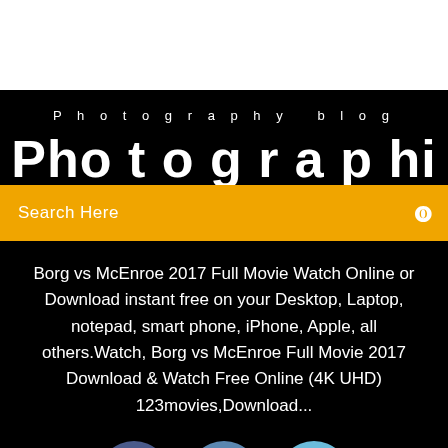Photography blog
Ph...
Search Here
Borg vs McEnroe 2017 Full Movie Watch Online or Download instant free on your Desktop, Laptop, notepad, smart phone, iPhone, Apple, all others.Watch, Borg vs McEnroe Full Movie 2017 Download & Watch Free Online (4K UHD) 123movies,Download...
[Figure (infographic): Social media icons: Facebook (dark blue circle with f), Twitter (medium blue circle with bird), Instagram (light blue circle with camera)]